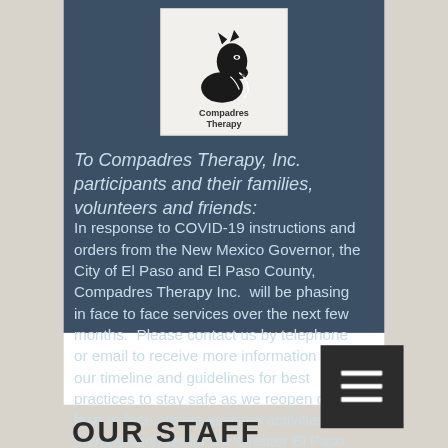[Figure (logo): Compadres Therapy logo — horse head silhouette in black and white with text 'Compadres Therapy' below]
To Compadres Therapy, Inc. participants and their families, volunteers and friends:
In response to COVID-19 instructions and orders from the New Mexico Governor, the City of El Paso and El Paso County, Compadres Therapy Inc.  will be phasing in face to face services over the next few months.  Please contact us by telephone or email to receive more information about our timeline and guidelines for best practices to stay safe as we reopen our face to face equine assisted activities and therapy services for the Greater El Paso and Southern New Mexico Borderland Community.
OUR STAFF